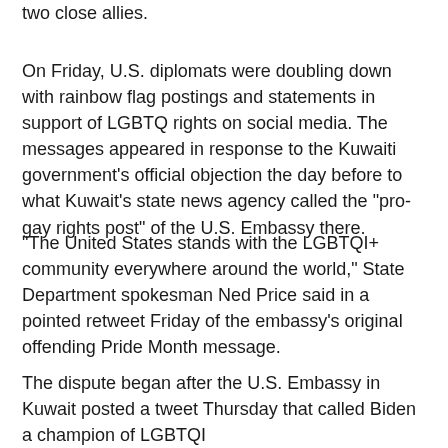two close allies.
On Friday, U.S. diplomats were doubling down with rainbow flag postings and statements in support of LGBTQ rights on social media. The messages appeared in response to the Kuwaiti government's official objection the day before to what Kuwait's state news agency called the "pro-gay rights post" of the U.S. Embassy there.
"The United States stands with the LGBTQI+ community everywhere around the world," State Department spokesman Ned Price said in a pointed retweet Friday of the embassy's original offending Pride Month message.
The dispute began after the U.S. Embassy in Kuwait posted a tweet Thursday that called Biden a champion of LGBTQI